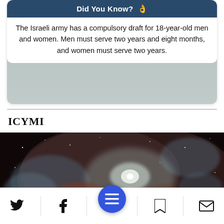[Figure (screenshot): Did You Know card with dark blue header and text about Israeli army compulsory draft]
The Israeli army has a compulsory draft for 18-year-old men and women. Men must serve two years and eight months, and women must serve two years.
ICYMI
[Figure (photo): Space nebula photo — dark reddish-brown cosmic cloud with bright blue-white glowing center and scattered stars]
[Figure (screenshot): Mobile app bottom navigation bar with Twitter, Facebook, hamburger menu (blue circle), bookmark, and email icons]